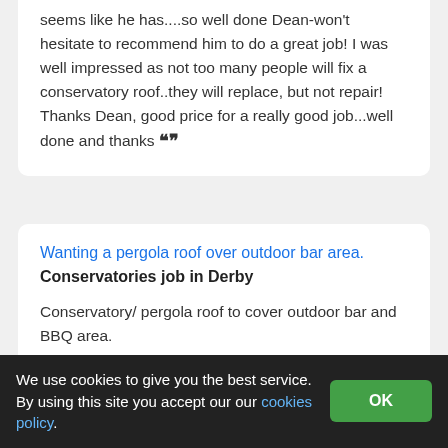seems like he has....so well done Dean-won't hesitate to recommend him to do a great job! I was well impressed as not too many people will fix a conservatory roof..they will replace, but not repair! Thanks Dean, good price for a really good job...well done and thanks ””
Wanting a pergola roof over outdoor bar area.
Conservatories job in Derby
Conservatory/ pergola roof to cover outdoor bar and BBQ area.
Negative feedback for BL Developments
We use cookies to give you the best service. By using this site you accept our our cookies policy.